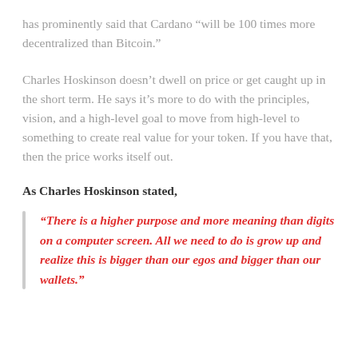has prominently said that Cardano “will be 100 times more decentralized than Bitcoin.”
Charles Hoskinson doesn’t dwell on price or get caught up in the short term. He says it’s more to do with the principles, vision, and a high-level goal to move from high-level to something to create real value for your token. If you have that, then the price works itself out.
As Charles Hoskinson stated,
“There is a higher purpose and more meaning than digits on a computer screen. All we need to do is grow up and realize this is bigger than our egos and bigger than our wallets.”